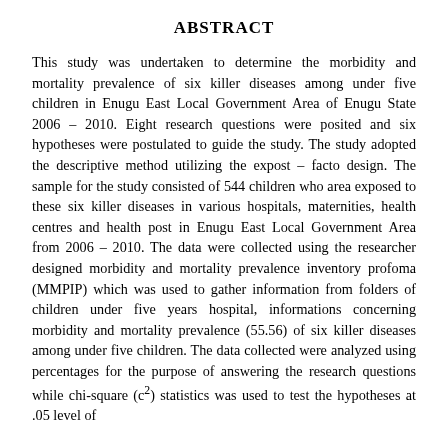ABSTRACT
This study was undertaken to determine the morbidity and mortality prevalence of six killer diseases among under five children in Enugu East Local Government Area of Enugu State 2006 – 2010. Eight research questions were posited and six hypotheses were postulated to guide the study. The study adopted the descriptive method utilizing the expost – facto design. The sample for the study consisted of 544 children who area exposed to these six killer diseases in various hospitals, maternities, health centres and health post in Enugu East Local Government Area from 2006 – 2010. The data were collected using the researcher designed morbidity and mortality prevalence inventory profoma (MMPIP) which was used to gather information from folders of children under five years hospital, informations concerning morbidity and mortality prevalence (55.56) of six killer diseases among under five children. The data collected were analyzed using percentages for the purpose of answering the research questions while chi-square (c²) statistics was used to test the hypotheses at .05 level of